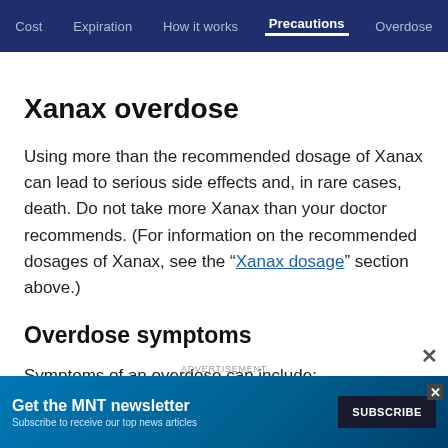Cost   Expiration   How it works   Precautions   Overdose
Xanax overdose
Using more than the recommended dosage of Xanax can lead to serious side effects and, in rare cases, death. Do not take more Xanax than your doctor recommends. (For information on the recommended dosages of Xanax, see the “Xanax dosage” section above.)
Overdose symptoms
Symptoms of an overdose can include:
[Figure (screenshot): Advertisement banner: Get the MNT newsletter. Subscribe to receive our top news articles. SUBSCRIBE button.]